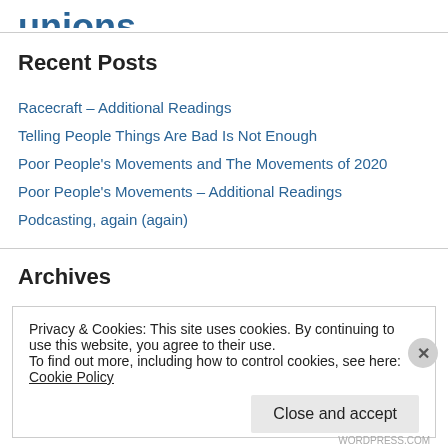unions Violence voting rights Wall Street war War on Drugs work
Recent Posts
Racecraft – Additional Readings
Telling People Things Are Bad Is Not Enough
Poor People's Movements and The Movements of 2020
Poor People's Movements – Additional Readings
Podcasting, again (again)
Archives
Privacy & Cookies: This site uses cookies. By continuing to use this website, you agree to their use.
To find out more, including how to control cookies, see here: Cookie Policy
Close and accept